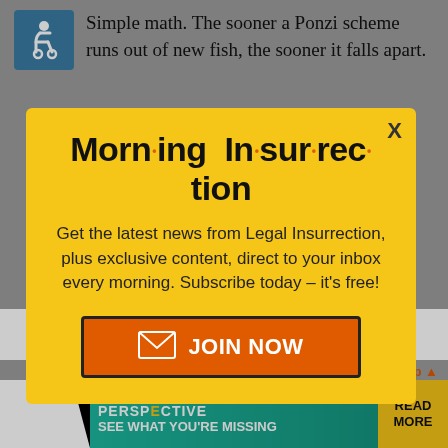Simple math. The sooner a Ponzi scheme runs out of new fish, the sooner it falls apart.
[Figure (illustration): Accessibility icon (wheelchair symbol) in blue square]
Morn·ing In·sur·rec·tion
Get the latest news from Legal Insurrection, plus exclusive content, direct to your inbox every morning. Subscribe today – it's free!
[Figure (other): JOIN NOW button with envelope icon, orange background with dark border]
donations tax ... deduction to the full extent ... wed by law.
[Figure (other): THE PERSPECTIVE - SEE WHAT YOU'RE MISSING advertisement banner with READ MORE button]